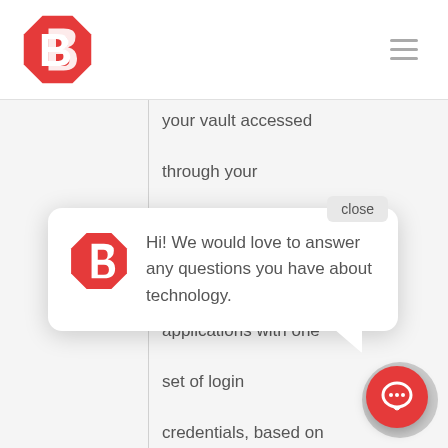[Figure (logo): Red octagonal logo with white letter B]
your vault accessed through your browser, or an app
Single Sign-On –
[Figure (infographic): Chat popup bubble with Bitwarden logo and message: Hi! We would love to answer any questions you have about technology.]
applications with one set of login credentials, based on